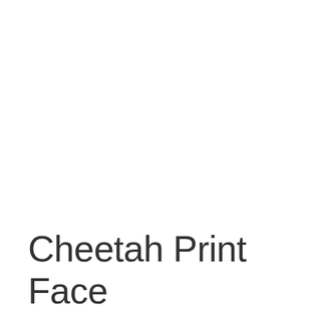[Figure (photo): Product image carousel section showing two small thumbnail photos of a woman wearing a cheetah print face covering/headband, with left and right navigation arrows and a small square icon placeholder]
Cheetah Print Face